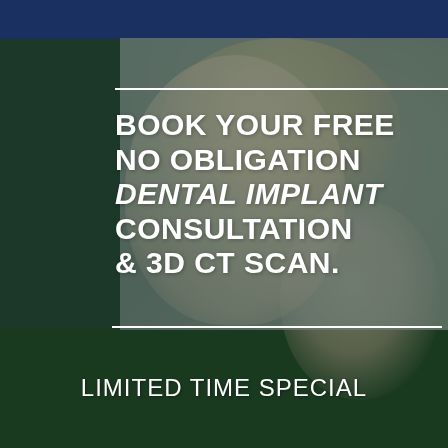[Figure (photo): Background photo of a smiling couple, woman with blonde hair and man, both smiling, overlaid with dark green/blue tint. Dark navy blue bar at top, dark green bar at bottom.]
BOOK YOUR FREE NO OBLIGATION DENTAL IMPLANT CONSULTATION & 3D CT SCAN.
LIMITED TIME SPECIAL